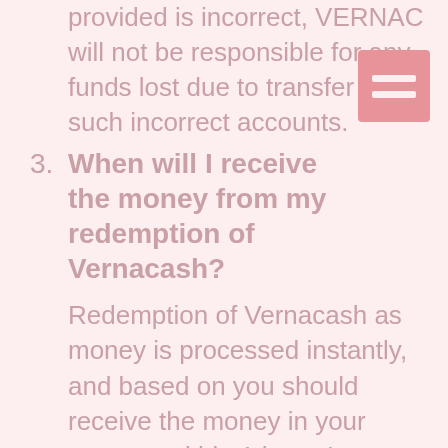provided is incorrect, VERNAC will not be responsible for any funds lost due to transfer to such incorrect accounts.
3. When will I receive the money from my redemption of Vernacash?
Redemption of Vernacash as money is processed instantly, and based on you should receive the money in your account within 1 hour. In case of bank system unavailability, the payment will be retried 3 times, after which it will go into 'Pending' or 'Failed' status. Such transactions are reviewed and reprocessed within 15 days from the date of the redemption request.
4. Is there a minimum number of Vernacash...